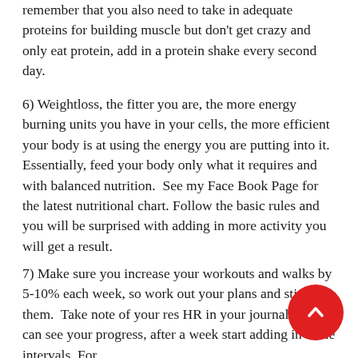remember that you also need to take in adequate proteins for building muscle but don't get crazy and only eat protein, add in a protein shake every second day.
6) Weightloss, the fitter you are, the more energy burning units you have in your cells, the more efficient your body is at using the energy you are putting into it.  Essentially, feed your body only what it requires and with balanced nutrition.  See my Face Book Page for the latest nutritional chart.  Follow the basic rules and you will be surprised with adding in more activity you will get a result.
7) Make sure you increase your workouts and walks by 5-10% each week, so work out your plans and stick to them.  Take note of your res HR in your journal so you can see your progress, after a week start adding in some intervals. For